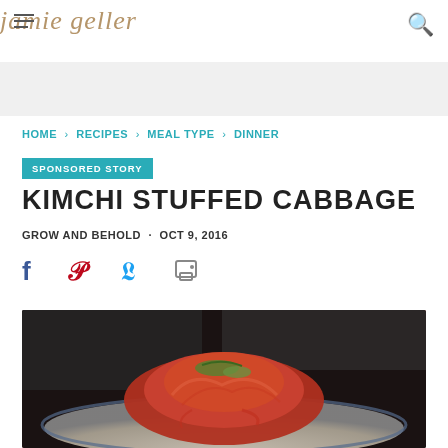jamie geller
HOME > RECIPES > MEAL TYPE > DINNER
SPONSORED STORY
KIMCHI STUFFED CABBAGE
GROW AND BEHOLD · OCT 9, 2016
[Figure (screenshot): Social sharing icons: Facebook (blue), Pinterest (red), Twitter (blue), Print (gray)]
[Figure (photo): Close-up photo of kimchi stuffed cabbage on a plate with blue rim, topped with red sauce and green garnish]